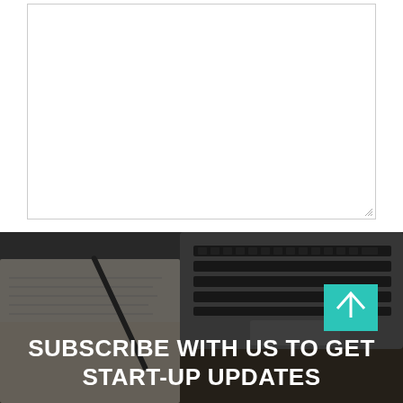[Figure (screenshot): A textarea input box with a resize handle in the bottom-right corner, on a white background]
SUBMIT
[Figure (photo): Dark-tinted photo of a laptop keyboard and a notebook with a pen on a wooden desk, with overlaid text 'SUBSCRIBE WITH US TO GET START-UP UPDATES' and a teal icon box]
SUBSCRIBE WITH US TO GET START-UP UPDATES